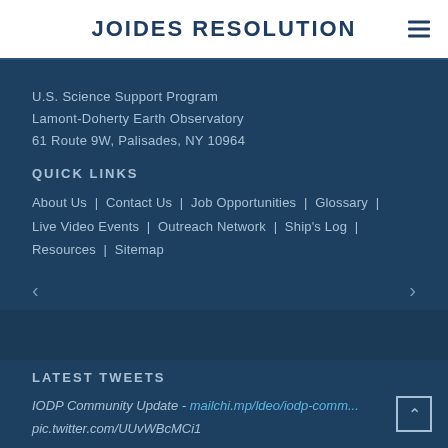JOIDES RESOLUTION
U.S. Science Support Program
Lamont-Doherty Earth Observatory
61 Route 9W, Palisades, NY 10964
QUICK LINKS
About Us | Contact Us | Job Opportunities | Glossary | Live Video Events | Outreach Network | Ship's Log | Resources | Sitemap
LATEST TWEETS
IODP Community Update - mailchi.mp/ldeo/iodp-comm... pic.twitter.com/UUvWBcMCi1
Yesterday